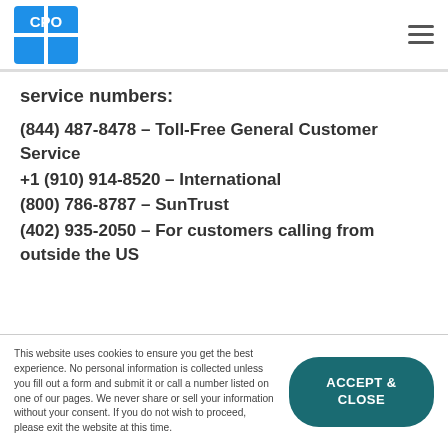CPO logo | hamburger menu
service numbers:
(844) 487-8478 – Toll-Free General Customer Service
+1 (910) 914-8520 – International
(800) 786-8787 – SunTrust
(402) 935-2050 – For customers calling from outside the US
This website uses cookies to ensure you get the best experience. No personal information is collected unless you fill out a form and submit it or call a number listed on one of our pages. We never share or sell your information without your consent. If you do not wish to proceed, please exit the website at this time.